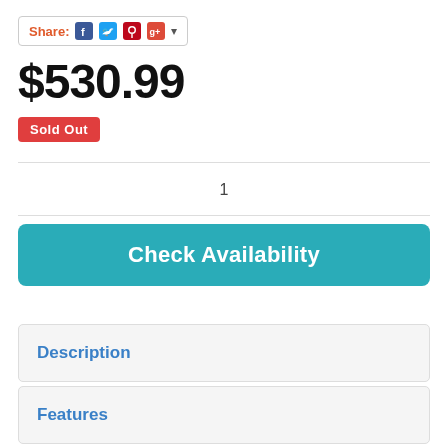Share:
$530.99
Sold Out
1
Check Availability
Description
Features
Specifications